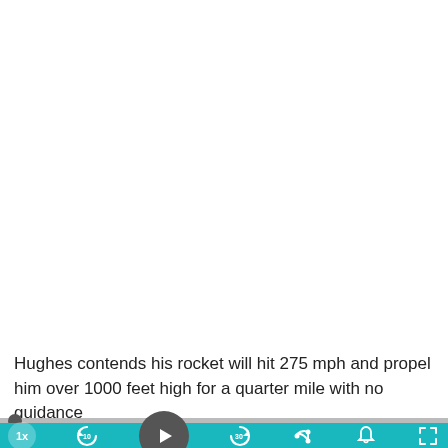[Figure (screenshot): Video player screenshot showing a white/blank video area in the upper portion, subtitle text, a progress bar, and a teal/cyan media controls toolbar at the bottom with speed, rewind, play, fast-forward, share, notification, and fullscreen buttons.]
Hughes contends his rocket will hit 275 mph and propel him over 1000 feet high for a quarter mile with no guidance